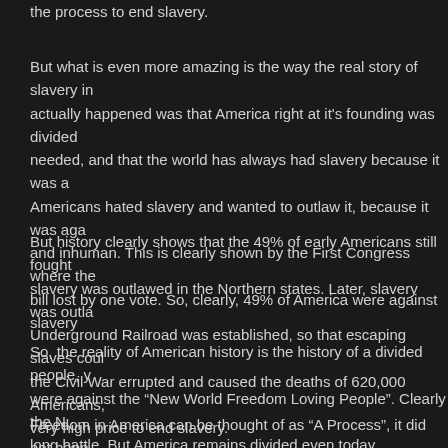the process to end slavery.
But what is even more amazing is the way the real story of slavery in actually happened was that America right at it's founding was divided needed, and that the world has always had slavery because it was a Americans hated slavery and wanted to outlaw it, because it was aga and inhuman. This is clearly shown by the First Congress where the bill lost by one vote. So, clearly, 49% of America were against slavery
But history clearly shows that the 49% of early Americans still fought slavery was outlawed in the Northern states. Later, slavery was outla Underground Railroad was established, so that escaping slaves coul the Civil War errupted and caused the deaths of 620,000 Americans, very high price to end slavery.
So, the reality of American history is the history of a divided people, y were against the “New World Freedom Loving People”. Clearly the N long battle. But America remains divided even today.
Freedom in America can be thought of as “A Process”, it did not happ established a standard of freedom, individual rights and liberty. Ar